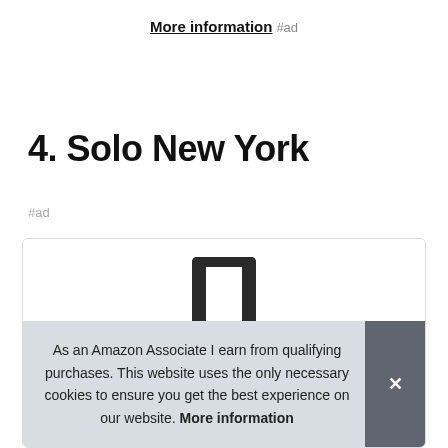More information #ad
4. Solo New York
#ad
[Figure (photo): Top portion of a Solo New York rolling luggage suitcase showing the retractable handle against a white background inside a product card]
As an Amazon Associate I earn from qualifying purchases. This website uses the only necessary cookies to ensure you get the best experience on our website. More information